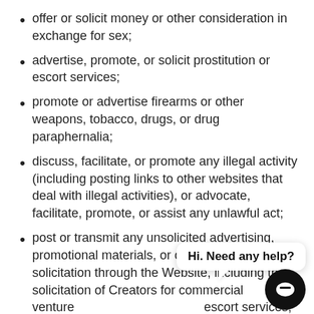offer or solicit money or other consideration in exchange for sex;
advertise, promote, or solicit prostitution or escort services;
promote or advertise firearms or other weapons, tobacco, drugs, or drug paraphernalia;
discuss, facilitate, or promote any illegal activity (including posting links to other websites that deal with illegal activities), or advocate, facilitate, promote, or assist any unlawful act;
post or transmit any unsolicited advertising, promotional materials, or other forms of solicitation through the Website, including the solicitation of Creators for commercial venture escort services;
transmit “junk mail,” “chain letters,” or “spam;” or
engage in antisocial, disruptive, or destructive behavior, including “bombing,” “flaming,” “flooding,” “trolling,” and “griefing” as those terms are commonly